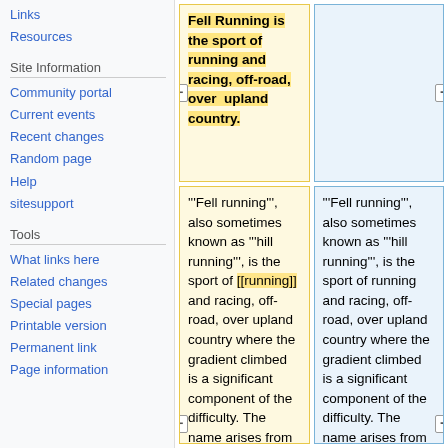Links
Resources
Site Information
Community portal
Current events
Recent changes
Random page
Help
sitesupport
Tools
What links here
Related changes
Special pages
Printable version
Permanent link
Page information
Fell Running is the sport of running and racing, off-road, over upland country.
'''Fell running''', also sometimes known as '''hill running''', is the sport of [[running]] and racing, off-road, over upland country where the gradient climbed is a significant component of the difficulty. The name arises from the origins of the
'''Fell running''', also sometimes known as '''hill running''', is the sport of running and racing, off-road, over upland country where the gradient climbed is a significant component of the difficulty. The name arises from the origins of the English